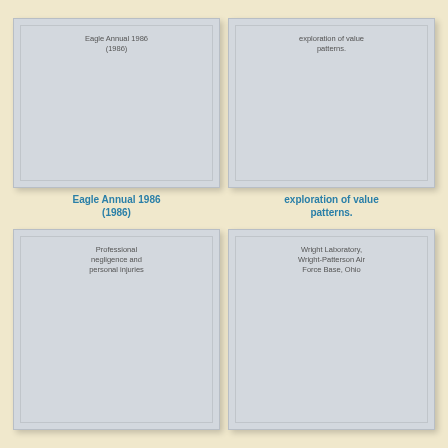[Figure (illustration): Book cover placeholder for Eagle Annual 1986 (1986)]
Eagle Annual 1986 (1986)
[Figure (illustration): Book cover placeholder for exploration of value patterns.]
exploration of value patterns.
[Figure (illustration): Book cover placeholder for Professional negligence and personal injuries]
[Figure (illustration): Book cover placeholder for Wright Laboratory, Wright-Patterson Air Force Base, Ohio]